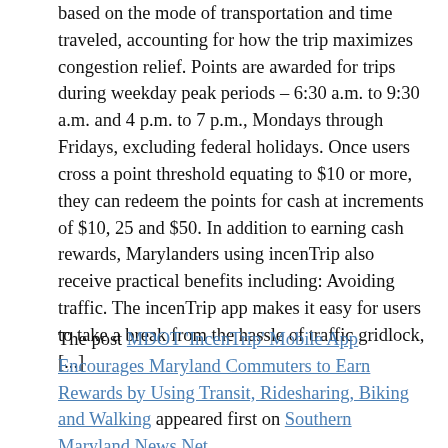based on the mode of transportation and time traveled, accounting for how the trip maximizes congestion relief. Points are awarded for trips during weekday peak periods – 6:30 a.m. to 9:30 a.m. and 4 p.m. to 7 p.m., Mondays through Fridays, excluding federal holidays. Once users cross a point threshold equating to $10 or more, they can redeem the points for cash at increments of $10, 25 and $50. In addition to earning cash rewards, Marylanders using incenTrip also receive practical benefits including: Avoiding traffic. The incenTrip app makes it easy for users to take a break from the hassle of traffic gridlock, [...]
The post MDOT 'IncenTrip' Mobile App Encourages Maryland Commuters to Earn Rewards by Using Transit, Ridesharing, Biking and Walking appeared first on Southern Maryland News Net.